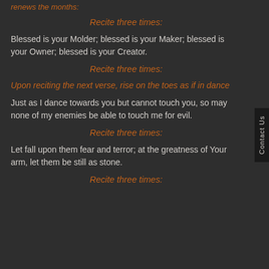renews the months:
Recite three times:
Blessed is your Molder; blessed is your Maker; blessed is your Owner; blessed is your Creator.
Recite three times:
Upon reciting the next verse, rise on the toes as if in dance
Just as I dance towards you but cannot touch you, so may none of my enemies be able to touch me for evil.
Recite three times:
Let fall upon them fear and terror; at the greatness of Your arm, let them be still as stone.
Recite three times: